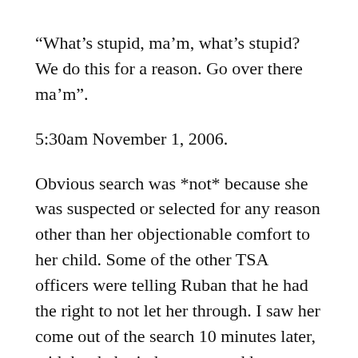“What’s stupid, ma’m, what’s stupid? We do this for a reason. Go over there ma’m”.
5:30am November 1, 2006.
Obvious search was *not* because she was suspected or selected for any reason other than her objectionable comfort to her child. Some of the other TSA officers were telling Ruban that he had the right to not let her through. I saw her come out of the search 10 minutes later, with her baby in her arms and her husband holding her hand, so there Ruban’s inquest could not have uncovered any objectionable materials. When I requested to know the officer’s name who ordered the search, one of the other officers said